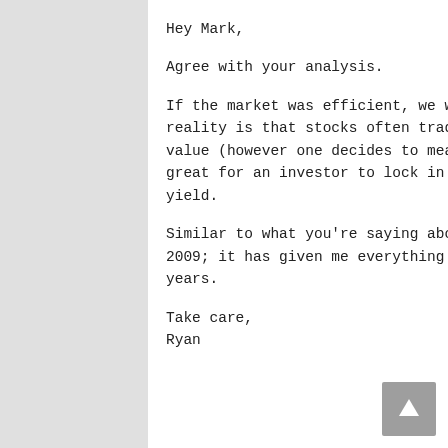Hey Mark,
Agree with your analysis.
If the market was efficient, we wouldn't have Game Stop scenarios. The reality is that stocks often trade wildly out of line with their fair value (however one decides to measure this). When that happens, it can be great for an investor to lock in a solid position with a great starting yield.
Similar to what you're saying about RY, I did this with TD back in May 2009; it has given me everything I've wanted and more over the intervening years.
Take care,
Ryan